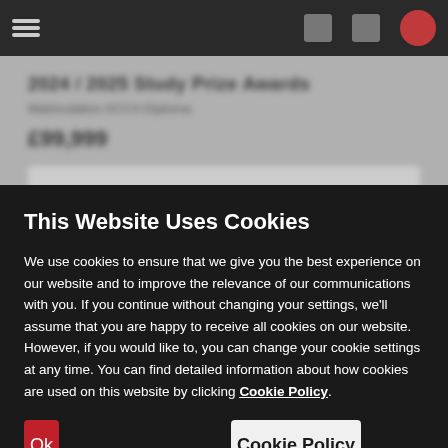[Figure (screenshot): Blurred website header with navigation bar (dark background, hamburger menu, icons, red circle button) and blurred page content showing a product title, subtitle, price, and a content bar.]
This Website Uses Cookies
We use cookies to ensure that we give you the best experience on our website and to improve the relevance of our communications with you. If you continue without changing your settings, we'll assume that you are happy to receive all cookies on our website. However, if you would like to, you can change your cookie settings at any time. You can find detailed information about how cookies are used on this website by clicking Cookie Policy.
Ok
Cookie Policy